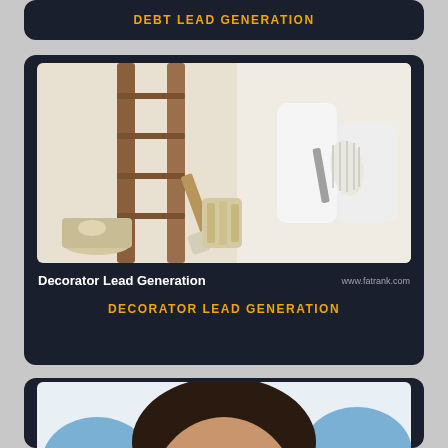DEBT LEAD GENERATION
[Figure (photo): Painting/decorating scene with a ladder, paint roller, brushes, and paint supplies]
Decorator Lead Generation   www.fatrank.com
DECORATOR LEAD GENERATION
[Figure (photo): Dental patient smiling while being examined by dentist with blue gloves holding dental tools]